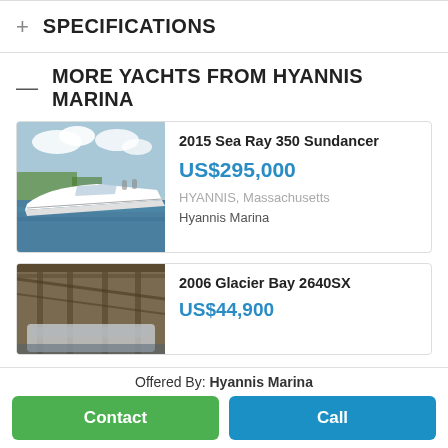+ SPECIFICATIONS
— MORE YACHTS FROM HYANNIS MARINA
[Figure (photo): Photo of a white 2015 Sea Ray 350 Sundancer motorboat on water at a marina]
2015 Sea Ray 350 Sundancer
US$295,000
HYANNIS, Massachusetts
Hyannis Marina
[Figure (photo): Photo of a 2006 Glacier Bay 2640SX boat in a covered marina slip]
2006 Glacier Bay 2640SX
US$44,900
Offered By: Hyannis Marina
Contact  Call